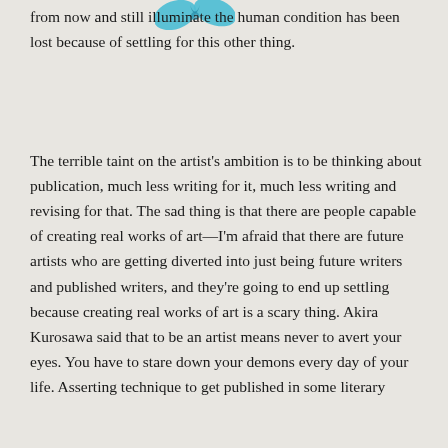[Figure (illustration): Partial blue decorative graphic element visible at the top center of the page, appearing to be a stylized icon or logo.]
from now and still illuminate the human condition has been lost because of settling for this other thing.
The terrible taint on the artist's ambition is to be thinking about publication, much less writing for it, much less writing and revising for that. The sad thing is that there are people capable of creating real works of art—I'm afraid that there are future artists who are getting diverted into just being future writers and published writers, and they're going to end up settling because creating real works of art is a scary thing. Akira Kurosawa said that to be an artist means never to avert your eyes. You have to stare down your demons every day of your life. Asserting technique to get published in some literary